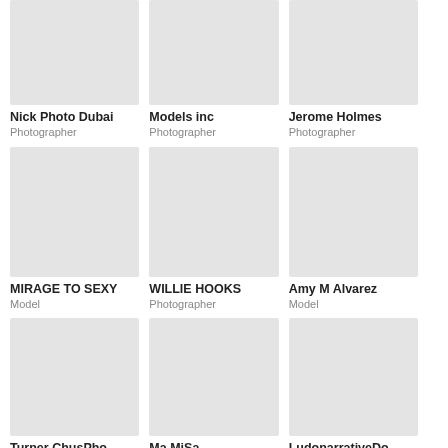[Figure (photo): Profile photo placeholder for Nick Photo Dubai]
Nick Photo Dubai
Photographer
[Figure (photo): Profile photo placeholder for Models inc]
Models inc
Photographer
[Figure (photo): Profile photo placeholder for Jerome Holmes]
Jerome Holmes
Photographer
[Figure (photo): Profile photo placeholder for MIRAGE TO SEXY]
MIRAGE TO SEXY
Model
[Figure (photo): Profile photo placeholder for WILLIE HOOKS]
WILLIE HOOKS
Photographer
[Figure (photo): Profile photo placeholder for Amy M Alvarez]
Amy M Alvarez
Model
[Figure (photo): Profile photo placeholder for Turner ChusPho...]
Turner ChusPho...
[Figure (photo): Profile photo placeholder for Ma MiSa]
Ma MiSa
[Figure (photo): Profile photo placeholder for LudonarrativeDo...]
LudonarrativeDo...